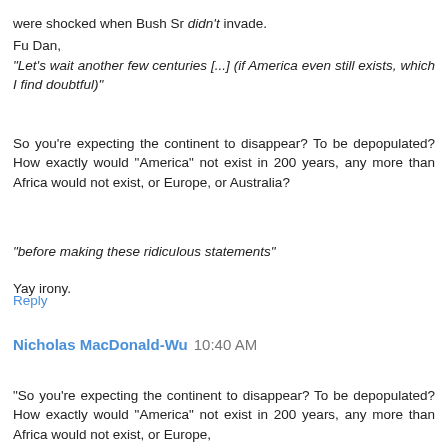were shocked when Bush Sr didn't invade.
Fu Dan,
"Let's wait another few centuries [...] (if America even still exists, which I find doubtful)"
So you're expecting the continent to disappear? To be depopulated? How exactly would "America" not exist in 200 years, any more than Africa would not exist, or Europe, or Australia?
"before making these ridiculous statements"
Yay irony.
Reply
Nicholas MacDonald-Wu  10:40 AM
"So you're expecting the continent to disappear? To be depopulated? How exactly would "America" not exist in 200 years, any more than Africa would not exist, or Europe,